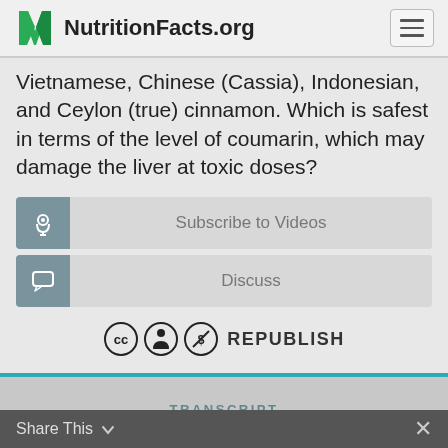NutritionFacts.org
Vietnamese, Chinese (Cassia), Indonesian, and Ceylon (true) cinnamon. Which is safest in terms of the level of coumarin, which may damage the liver at toxic doses?
Subscribe to Videos
Discuss
REPUBLISH
TRANSCRIPT
Share This